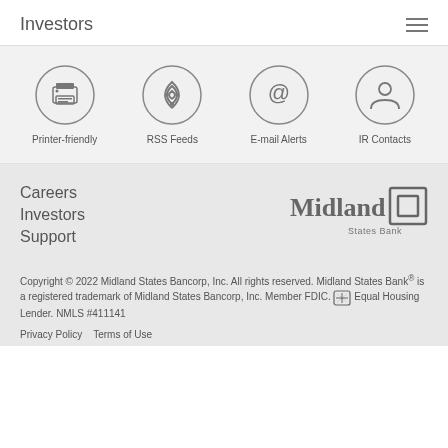Investors
[Figure (infographic): Four circular icon buttons: Printer-friendly (printer icon), RSS Feeds (wifi/signal icon), E-mail Alerts (@ icon), IR Contacts (person icon)]
Careers
Investors
Support
[Figure (logo): Midland States Bank logo with square graphic element]
Copyright © 2022 Midland States Bancorp, Inc. All rights reserved. Midland States Bank® is a registered trademark of Midland States Bancorp, Inc. Member FDIC. Equal Housing Lender. NMLS #411141
Privacy Policy  Terms of Use